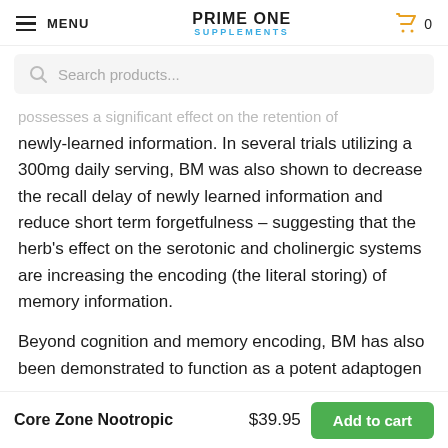MENU   PRIME ONE SUPPLEMENTS   0
Search products...
...possesses a significant effect on the retention of newly-learned information. In several trials utilizing a 300mg daily serving, BM was also shown to decrease the recall delay of newly learned information and reduce short term forgetfulness – suggesting that the herb's effect on the serotonic and cholinergic systems are increasing the encoding (the literal storing) of memory information.
Beyond cognition and memory encoding, BM has also been demonstrated to function as a potent adaptogen
Core Zone Nootropic   $39.95   Add to cart